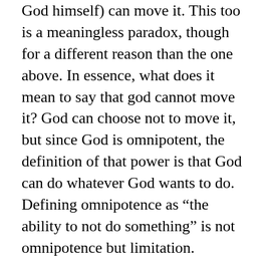God himself) can move it. This too is a meaningless paradox, though for a different reason than the one above. In essence, what does it mean to say that god cannot move it? God can choose not to move it, but since God is omnipotent, the definition of that power is that God can do whatever God wants to do. Defining omnipotence as “the ability to not do something” is not omnipotence but limitation.
To put it plainly, anything God creates, God can uncreate. Perhaps God can relinquish that power if God so desired; the ability to relinquish it would fall within omnipotence, but once relinquished, God would no longer be omnipotent. That doesn’t mean God wasn’t omnipotent before choosing to do so, though